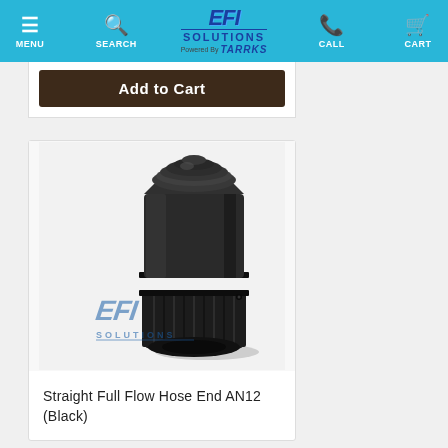MENU | SEARCH | EFI SOLUTIONS | CALL | CART
Add to Cart
[Figure (photo): Black AN12 straight full flow hose end fitting with watermark logo of EFI Solutions]
Straight Full Flow Hose End AN12 (Black)